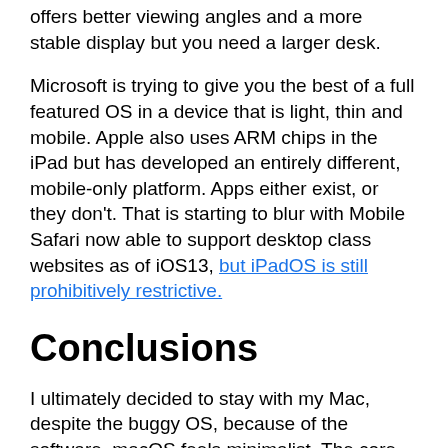offers better viewing angles and a more stable display but you need a larger desk.
Microsoft is trying to give you the best of a full featured OS in a device that is light, thin and mobile. Apple also uses ARM chips in the iPad but has developed an entirely different, mobile-only platform. Apps either exist, or they don't. That is starting to blur with Mobile Safari now able to support desktop class websites as of iOS13, but iPadOS is still prohibitively restrictive.
Conclusions
I ultimately decided to stay with my Mac, despite the buggy OS, because of the software. macOS feels minimalist. The core apps are lightweight in design, such as macOS Mail which I use as my primary mail client. I've never been a fan of how heavy Outlook